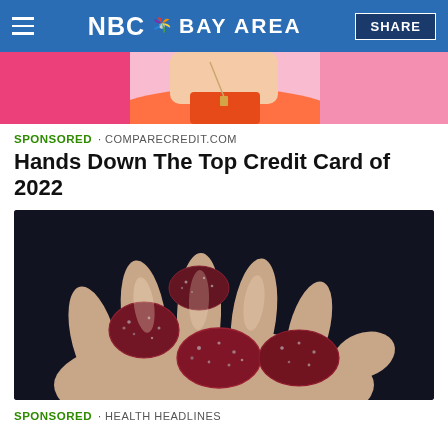NBC BAY AREA  SHARE
[Figure (photo): Top portion of a photo showing a person in orange and pink clothing, cropped at chest/shoulder level]
SPONSORED · COMPARECREDIT.COM
Hands Down The Top Credit Card of 2022
[Figure (photo): Close-up photo of a hand holding several red sugar-coated gummy candies against a dark background]
SPONSORED · HEALTH HEADLINES